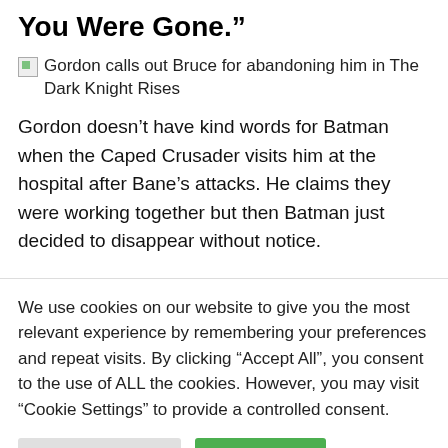You Were Gone.”
Gordon calls out Bruce for abandoning him in The Dark Knight Rises
Gordon doesn’t have kind words for Batman when the Caped Crusader visits him at the hospital after Bane’s attacks. He claims they were working together but then Batman just decided to disappear without notice.
We use cookies on our website to give you the most relevant experience by remembering your preferences and repeat visits. By clicking “Accept All”, you consent to the use of ALL the cookies. However, you may visit "Cookie Settings" to provide a controlled consent.
Cookie Settings
Accept All